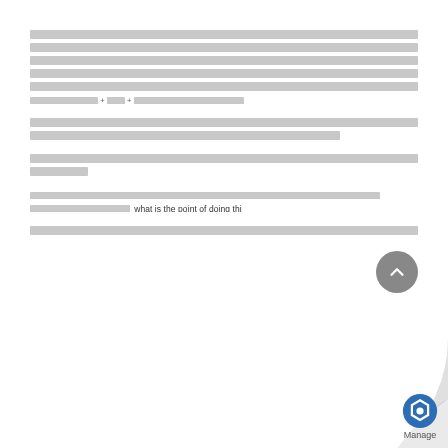[redacted paragraph with redacted content including +redacted+redacted formula]
[redacted paragraph, two lines]
[redacted paragraph, two lines]
[redacted paragraph containing text: 'what is the point of doing thi...']
[redacted paragraph, one line]